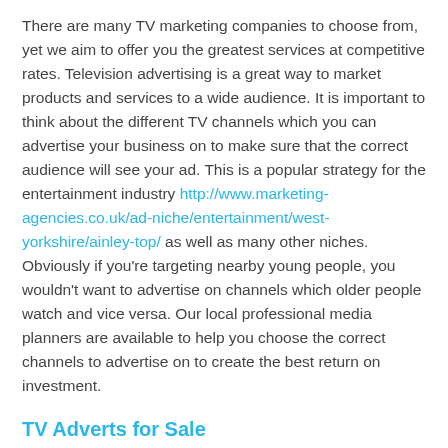There are many TV marketing companies to choose from, yet we aim to offer you the greatest services at competitive rates. Television advertising is a great way to market products and services to a wide audience. It is important to think about the different TV channels which you can advertise your business on to make sure that the correct audience will see your ad. This is a popular strategy for the entertainment industry http://www.marketing-agencies.co.uk/ad-niche/entertainment/west-yorkshire/ainley-top/ as well as many other niches. Obviously if you're targeting nearby young people, you wouldn't want to advertise on channels which older people watch and vice versa. Our local professional media planners are available to help you choose the correct channels to advertise on to create the best return on investment.
TV Adverts for Sale
As a specialist within your surrounding area we get all the TV Adverts For Sale at discounted prices. The costs of televisions ads vary considerably but we're able to offer a mixture of quotes to suit your budget. Selling television advertisements is our bread and butter so we deal with the very best we can do all we can to give back...